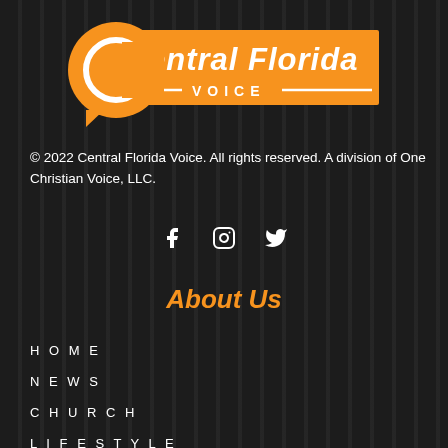[Figure (logo): Central Florida Voice logo — orange circle with stylized C letter forming a speech bubble, orange rectangle background with white italic text 'Central Florida Voice' and 'VOICE' in all caps with decorative lines]
© 2022 Central Florida Voice. All rights reserved. A division of One Christian Voice, LLC.
[Figure (infographic): Social media icons: Facebook (f), Instagram (camera), Twitter (bird) in white on dark background]
About Us
HOME
NEWS
CHURCH
LIFESTYLE
LEADERSHIP
SPORTS